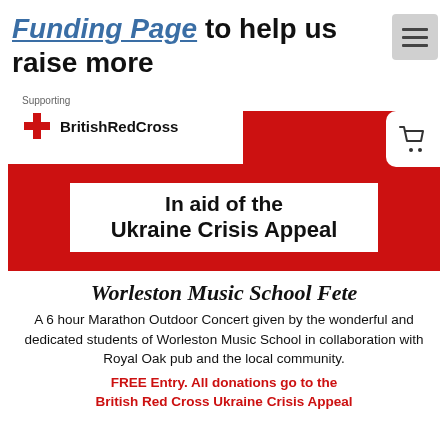Funding Page to help us raise more
[Figure (infographic): British Red Cross logo banner with red background and 'In aid of the Ukraine Crisis Appeal' text overlay. Includes Supporting British Red Cross logo in top left and a shopping cart icon.]
Worleston Music School Fete
A 6 hour Marathon Outdoor Concert given by the wonderful and dedicated students of Worleston Music School in collaboration with Royal Oak pub and the local community.
FREE Entry. All donations go to the British Red Cross Ukraine Crisis Appeal